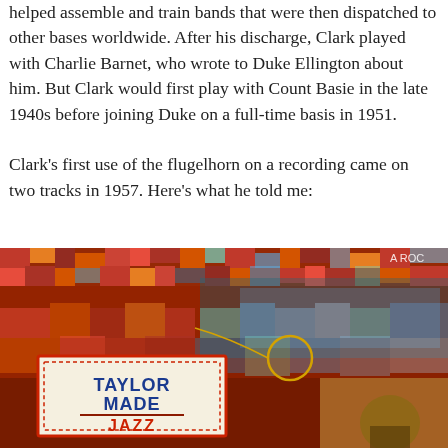helped assemble and train bands that were then dispatched to other bases worldwide. After his discharge, Clark played with Charlie Barnet, who wrote to Duke Ellington about him. But Clark would first play with Count Basie in the late 1940s before joining Duke on a full-time basis in 1951.

Clark's first use of the flugelhorn on a recording came on two tracks in 1957. Here's what he told me:
[Figure (photo): Album cover for 'Taylor Made Jazz' — a colorful mosaic/pointillist background in reds, oranges, and teals, with a label in the lower-left showing zigzag red borders, 'TAYLOR MADE' in blue block letters, a red underline, and 'JAZZ' in red letters. A circle annotation is drawn on the right side. Bottom right shows a partial view of a person wearing glasses. Top right corner shows partial text 'A ROC'.]